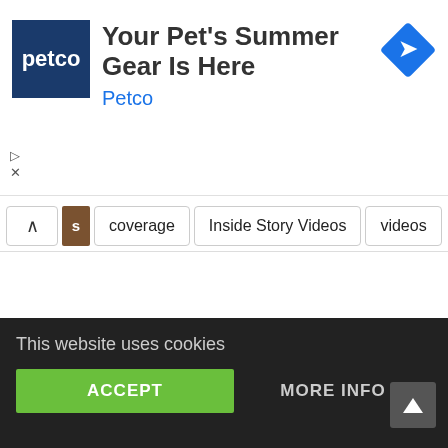[Figure (screenshot): Petco advertisement banner with blue Petco logo, headline 'Your Pet's Summer Gear Is Here', brand name 'Petco' in blue, and a blue diamond navigation icon on the right]
Your Pet's Summer Gear Is Here
Petco
coverage	Inside Story Videos	videos
This website uses cookies
ACCEPT
MORE INFO